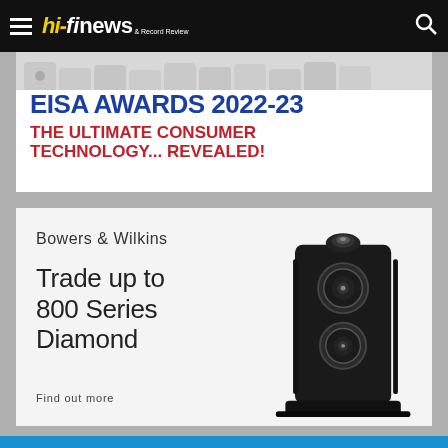hi-fi news & Record Review
[Figure (illustration): EISA Awards 2022-23 banner advertisement with text 'EISA AWARDS 2022-23' in blue and 'THE ULTIMATE CONSUMER TECHNOLOGY... REVEALED!' in red, on white background with decorative tab shapes at top]
[Figure (illustration): Bowers & Wilkins advertisement showing 800 Series Diamond speaker in black with text 'Bowers & Wilkins', 'Trade up to 800 Series Diamond', and 'Find out more']